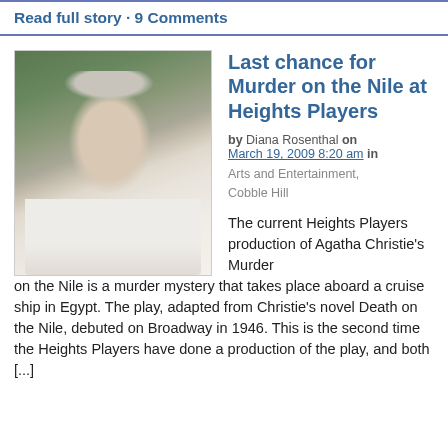Read full story · 9 Comments
Last chance for Murder on the Nile at Heights Players
by Diana Rosenthal on March 19, 2009 8:20 am in Arts and Entertainment, Cobble Hill
[Figure (photo): Black and white photo of an older man with white/grey hair wearing a white t-shirt, looking to the side, with trees/foliage in the background.]
The current Heights Players production of Agatha Christie's Murder on the Nile is a murder mystery that takes place aboard a cruise ship in Egypt. The play, adapted from Christie's novel Death on the Nile, debuted on Broadway in 1946. This is the second time the Heights Players have done a production of the play, and both [...]